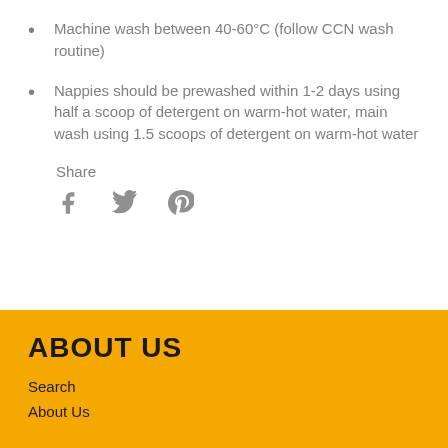Machine wash between 40-60°C (follow CCN wash routine)
Nappies should be prewashed within 1-2 days using half a scoop of detergent on warm-hot water, main wash using 1.5 scoops of detergent on warm-hot water
Share
[Figure (infographic): Social share icons: Facebook (f), Twitter (bird), Pinterest (P)]
ABOUT US
Search
About Us